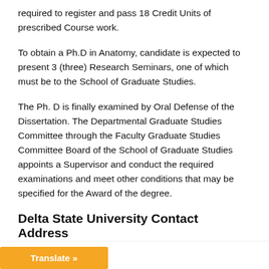required to register and pass 18 Credit Units of prescribed Course work.
To obtain a Ph.D in Anatomy, candidate is expected to present 3 (three) Research Seminars, one of which must be to the School of Graduate Studies.
The Ph. D is finally examined by Oral Defense of the Dissertation. The Departmental Graduate Studies Committee through the Faculty Graduate Studies Committee Board of the School of Graduate Studies appoints a Supervisor and conduct the required examinations and meet other conditions that may be specified for the Award of the degree.
Delta State University Contact Address
versity
1. Abraka Delta State, Nigeria